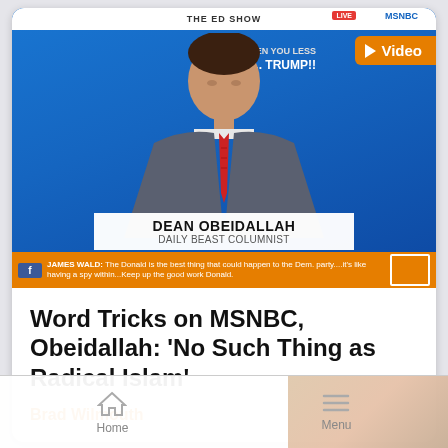[Figure (screenshot): TV screenshot from MSNBC The Ed Show featuring Dean Obeidallah, Daily Beast Columnist, with social media comment bar at bottom and video badge overlay]
Word Tricks on MSNBC, Obeidallah: 'No Such Thing as Radical Islam'
Brad Wilmouth
Home  Menu